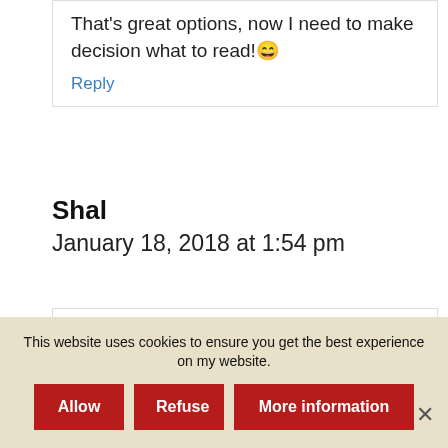That's great options, now I need to make decision what to read! 😁
Reply
Shal
January 18, 2018 at 1:54 pm
More fantastic books to choose from. Thank you
Reply
This website uses cookies to ensure you get the best experience on my website.
Allow
Refuse
More information